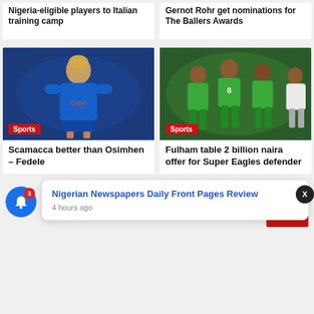Nigeria-eligible players to Italian training camp
Gernot Rohr get nominations for The Ballers Awards
[Figure (photo): Football player in blue jersey smiling, with Sports badge overlay]
Sports
[Figure (photo): Nigeria Super Eagles players in green jerseys celebrating, with Sports badge overlay]
Sports
Scamacca better than Osimhen – Fedele
Fulham table 2 billion naira offer for Super Eagles defender
Nigerian Newspapers Daily Front Pages Review
4 hours ago